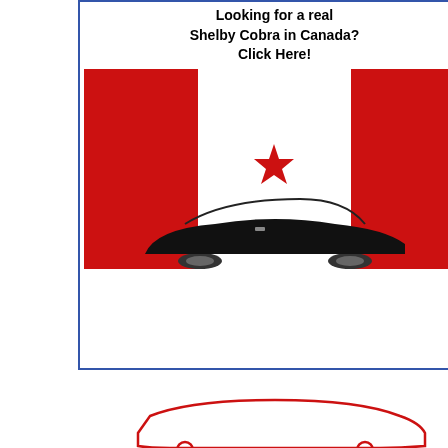[Figure (photo): Advertisement for Shelby Cobra in Canada with Canadian flag and sports car image. Text: Looking for a real Shelby Cobra in Canada? Click Here!]
[Figure (logo): MMG Motorsports logo with Superformance text]
[Figure (photo): Blue sports car (Shelby Cobra replica) in a showroom]
[Figure (photo): Partially visible photo at top right (car part close-up)]
lineslinger
[Figure (illustration): Yellow avatar/mascot image of cartoon character with fishing rod]
Senior Club Cobra Member
Registered: January 2004
Location: St. Louis
Posts: 1,380
Keywords: 4
Linked Thum
Linked Medi
Medium Imag
HTML code:
[Figure (logo): MMG Motorsports logo (second instance)]